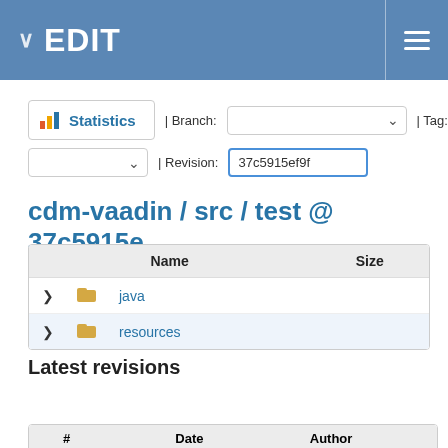EDIT
Statistics | Branch: | Tag:
| Revision: 37c5915ef9f
cdm-vaadin / src / test @ 37c5915e
| Name | Size |
| --- | --- |
| java |  |
| resources |  |
Latest revisions
View differences
| # | Date | Author |  |
| --- | --- | --- | --- |
| 37c5915e | 06/04/2015 02:20 PM | Cherian Mathew | updat chang accor |
| 67e9aae2 | 06/04/2015 01:04 PM | Cherian Mathew | marg |